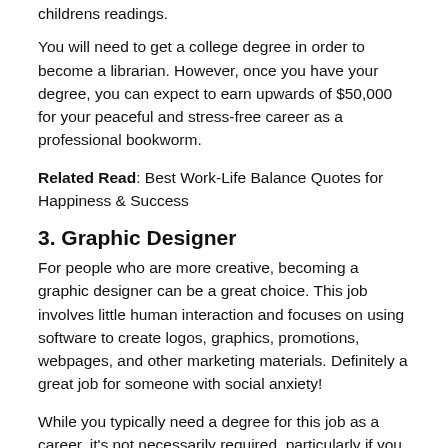childrens readings.
You will need to get a college degree in order to become a librarian. However, once you have your degree, you can expect to earn upwards of $50,000 for your peaceful and stress-free career as a professional bookworm.
Related Read: Best Work-Life Balance Quotes for Happiness & Success
3. Graphic Designer
For people who are more creative, becoming a graphic designer can be a great choice. This job involves little human interaction and focuses on using software to create logos, graphics, promotions, webpages, and other marketing materials. Definitely a great job for someone with social anxiety!
While you typically need a degree for this job as a career, it's not necessarily required, particularly if you go the flex jobs way and do contract or freelance work. Some employers will